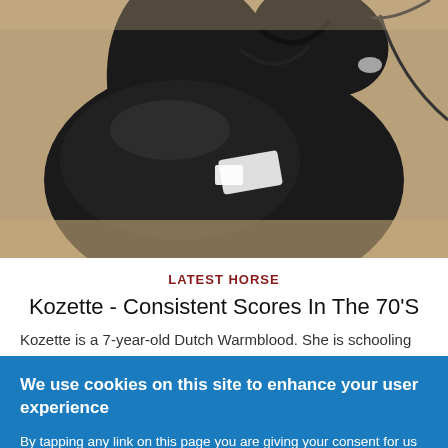[Figure (photo): Close-up photo of a dark/black horse wearing dressage tack including bridle, reins, and saddle pad, viewed from the side/front]
LATEST HORSE
Kozette - Consistent Scores In The 70'S
Kozette is a 7-year-old Dutch Warmblood. She is schooling Second and Third level dressage with a
We use cookies on this site to enhance your user experience

By tapping any link on this page you are giving your consent for us to set cookies. More info

OK, I agree    No, thanks